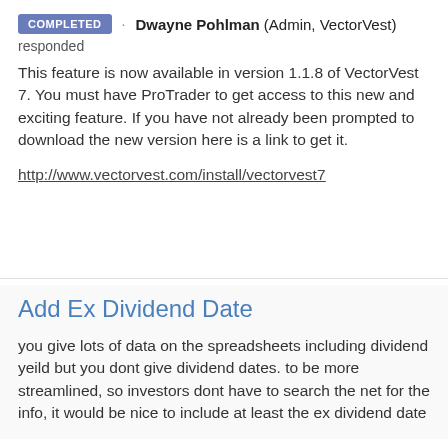COMPLETED · Dwayne Pohlman (Admin, VectorVest) responded
This feature is now available in version 1.1.8 of VectorVest 7. You must have ProTrader to get access to this new and exciting feature. If you have not already been prompted to download the new version here is a link to get it.
http://www.vectorvest.com/install/vectorvest7
Add Ex Dividend Date
you give lots of data on the spreadsheets including dividend yeild but you dont give dividend dates. to be more streamlined, so investors dont have to search the net for the info, it would be nice to include at least the ex dividend date